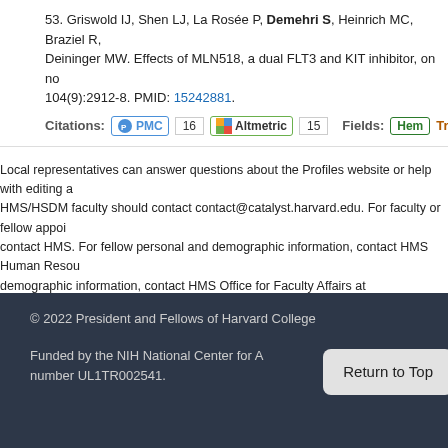53. Griswold IJ, Shen LJ, La Rosée P, Demehri S, Heinrich MC, Braziel R, Deininger MW. Effects of MLN518, a dual FLT3 and KIT inhibitor, on no 104(9):2912-8. PMID: 15242881.
Citations: PMC 16 Altmetric 15 Fields: Hem Translatio
Local representatives can answer questions about the Profiles website or help with editing a HMS/HSDM faculty should contact contact@catalyst.harvard.edu. For faculty or fellow appoi contact HMS. For fellow personal and demographic information, contact HMS Human Resou demographic information, contact HMS Office for Faculty Affairs at facappt@hms.harvard.ed
© 2022 President and Fellows of Harvard College
Funded by the NIH National Center for A number UL1TR002541.